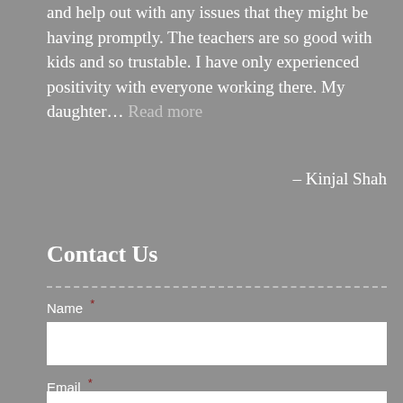and help out with any issues that they might be having promptly. The teachers are so good with kids and so trustable. I have only experienced positivity with everyone working there. My daughter… Read more
– Kinjal Shah
Contact Us
Name *
Email *